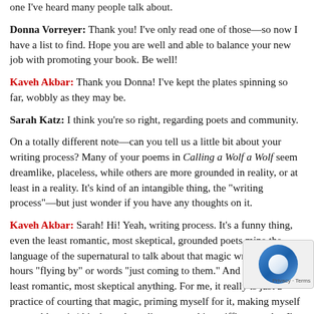one I've heard many people talk about.
Donna Vorreyer: Thank you! I've only read one of those—so now I have a list to find. Hope you are well and able to balance your new job with promoting your book. Be well!
Kaveh Akbar: Thank you Donna! I've kept the plates spinning so far, wobbly as they may be.
Sarah Katz: I think you're so right, regarding poets and community.
On a totally different note—can you tell us a little bit about your writing process? Many of your poems in Calling a Wolf a Wolf seem dreamlike, placeless, while others are more grounded in reality, or at least in a reality. It's kind of an intangible thing, the "writing process"—but just wonder if you have any thoughts on it.
Kaveh Akbar: Sarah! Hi! Yeah, writing process. It's a funny thing, even the least romantic, most skeptical, grounded poets mine the language of the supernatural to talk about that magic writing fugue—hours "flying by" or words "just coming to them." And I'm not the least romantic, most skeptical anything. For me, it really is just a practice of courting that magic, priming myself for it, making myself permeable to it (this through reading, note taking, riffing on what I'm reading and